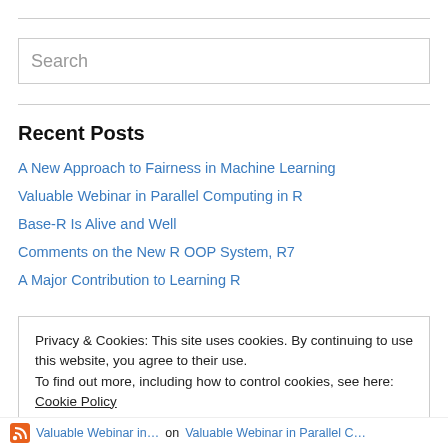[Figure (other): Search input box with placeholder text 'Search']
Recent Posts
A New Approach to Fairness in Machine Learning
Valuable Webinar in Parallel Computing in R
Base-R Is Alive and Well
Comments on the New R OOP System, R7
A Major Contribution to Learning R
Privacy & Cookies: This site uses cookies. By continuing to use this website, you agree to their use.
To find out more, including how to control cookies, see here: Cookie Policy
Valuable Webinar in… on Valuable Webinar in Parallel C…